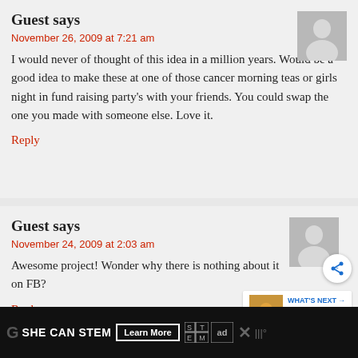Guest says
November 26, 2009 at 7:21 am
I would never of thought of this idea in a million years. Would be a good idea to make these at one of those cancer morning teas or girls night in fund raising party's with your friends. You could swap the one you made with someone else. Love it.
Reply
Guest says
November 24, 2009 at 2:03 am
Awesome project! Wonder why there is nothing about it on FB?
Reply
WHAT'S NEXT → Vintage Crochet...
SHE CAN STEM  Learn More